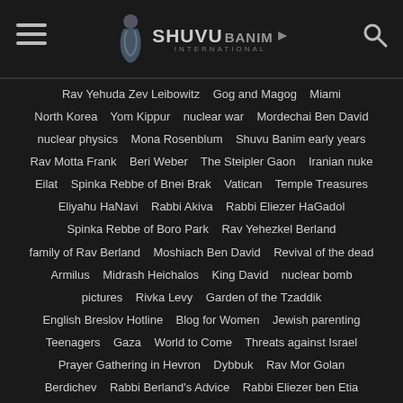Shuvu Banim International
Rav Yehuda Zev Leibowitz   Gog and Magog   Miami   North Korea   Yom Kippur   nuclear war   Mordechai Ben David   nuclear physics   Mona Rosenblum   Shuvu Banim early years   Rav Motta Frank   Beri Weber   The Steipler Gaon   Iranian nuke   Eilat   Spinka Rebbe of Bnei Brak   Vatican   Temple Treasures   Eliyahu HaNavi   Rabbi Akiva   Rabbi Eliezer HaGadol   Spinka Rebbe of Boro Park   Rav Yehezkel Berland   family of Rav Berland   Moshiach Ben David   Revival of the dead   Armilus   Midrash Heichalos   King David   nuclear bomb   pictures   Rivka Levy   Garden of the Tzaddik   English Breslov Hotline   Blog for Women   Jewish parenting   Teenagers   Gaza   World to Come   Threats against Israel   Prayer Gathering in Hevron   Dybbuk   Rav Mor Golan   Berdichev   Rabbi Berland's Advice   Rabbi Eliezer ben Etia   Fake News   War with Iran   Yeshiva World News   Bet Din   Badatz   court ruling   Rav Sternbuch   Rav Yitzchak Tuvia Weiss   Autistics   Anti-Semitism   End of Days Prophecy   One in a Generation Volume II   Rabbi Kaduri   Morocco   Breslov Research Institute   Hurricane Dorian   Shiviyei Or